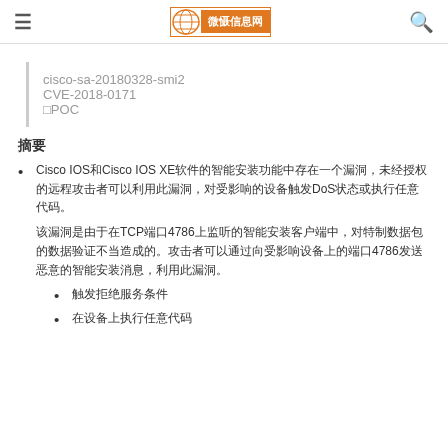≡  VulSec微慑信息网  🔍
cisco-sa-20180328-smi2
CVE-2018-0171
□POC
摘要
Cisco IOS和Cisco IOS XE软件的智能安装功能中存在一个漏洞，未经授权的远程攻击者可以利用此漏洞，对受影响的设备触发DoS状态或执行任意代码。
该漏洞是由于在TCP端口4786上监听的智能安装客户端中，对特制数据包的数据验证不当造成的。攻击者可以通过向受影响设备上的端口4786发送恶意的智能安装消息，利用此漏洞。
触发拒绝服务条件
在设备上执行任意代码